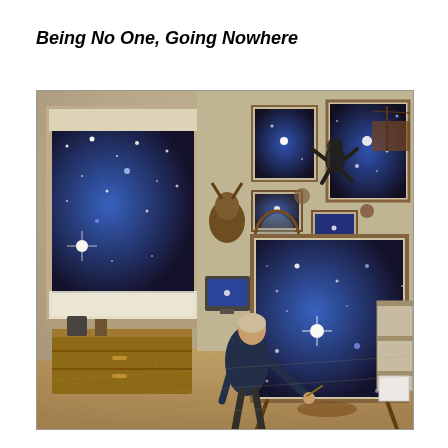Being No One, Going Nowhere
[Figure (photo): A person painting at an easel in a studio room. The large canvas on the easel shows a deep blue starry night sky. The window behind also shows a blue starry sky. Multiple smaller framed canvases and images of starry skies hang on the walls. Various objects and decorations fill the cluttered studio. A silhouette figure appears to float near the ceiling on the right side.]